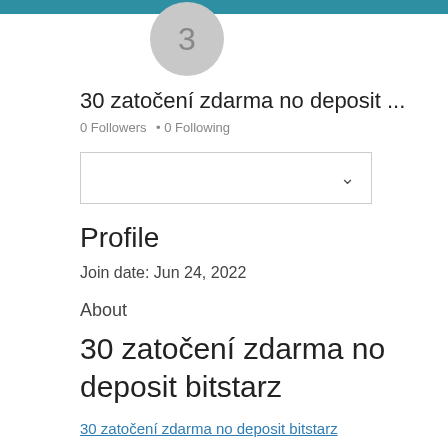[Figure (illustration): User avatar circle with number 3 on a teal/blue top bar background]
30 zatočení zdarma no deposit ...
0 Followers • 0 Following
[Figure (other): Dropdown box with chevron arrow]
Profile
Join date: Jun 24, 2022
About
30 zatočení zdarma no deposit bitstarz
30 zatočení zdarma no deposit bitstarz